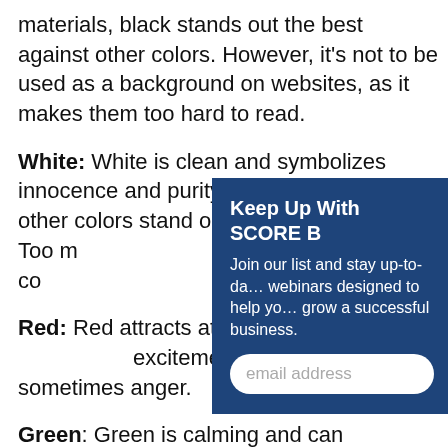materials, black stands out the best against other colors. However, it's not to be used as a background on websites, as it makes them too hard to read.
White: White is clean and symbolizes innocence and purity. It's simple and light; other colors stand out best against white. Too m... come off as stark and co...
Red: Red attracts atten... excitement. It can also c... sometimes anger.
Green: Green is calming and can symbolize luck, generosity, peace, the environment, and wealth. Green and white look great together. Green is
[Figure (other): A popup/modal overlay with dark blue background. Title reads 'Keep Up With SCORE B' (truncated). Body text: 'Join our list and stay up-to-da... webinars designed to help yo... grow a successful business.' An email address input field is shown at the bottom.]